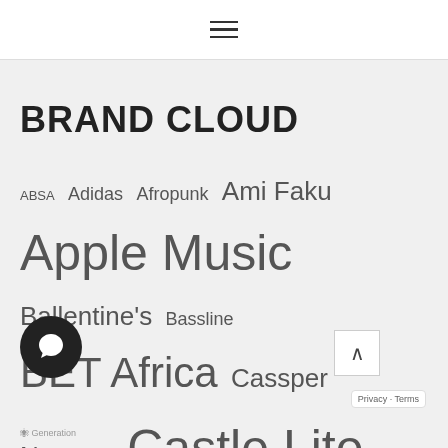≡ (hamburger menu icon)
BRAND CLOUD
ABSA  Adidas  Afropunk  Ami Faku  Apple Music  Ballentine's  Bassline  BET Africa  Cassper Nyovest  Castle Lite  Cell C  Converse  DStv  Dulux  Fete De La Musique  Flight Centre  H...mation  Huawei  KFC  Manu World...  MSC Cruises  MTN  MTV  MTV Base  Muzi  Nam...  National Arts Festival...
[Figure (other): Chat bubble overlay icon (dark circle with speech bubble)]
[Figure (other): Scroll-up arrow button overlay]
Privacy · Terms
GenerationPowered by